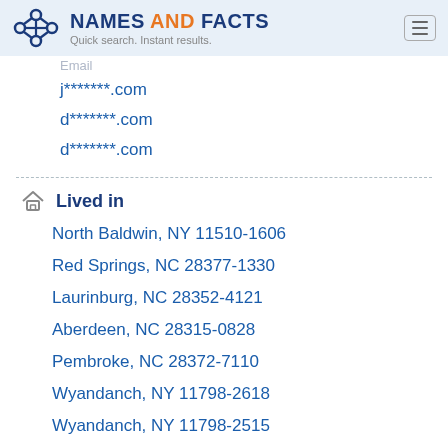NAMES AND FACTS — Quick search. Instant results.
Email
j*******.com
d*******.com
d*******.com
Lived in
North Baldwin, NY 11510-1606
Red Springs, NC 28377-1330
Laurinburg, NC 28352-4121
Aberdeen, NC 28315-0828
Pembroke, NC 28372-7110
Wyandanch, NY 11798-2618
Wyandanch, NY 11798-2515